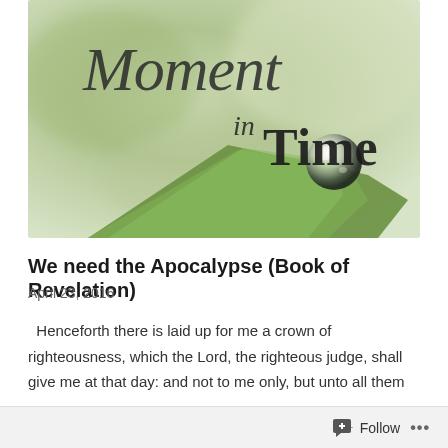[Figure (illustration): A blog header image showing the text 'Moment in Time' in an elegant script/serif font over a blurred green background with a water droplet on a grass blade in the foreground.]
We need the Apocalypse (Book of Revelation)
April 23, 2016
Henceforth there is laid up for me a crown of righteousness, which the Lord, the righteous judge, shall give me at that day: and not to me only, but unto all them
Follow ...